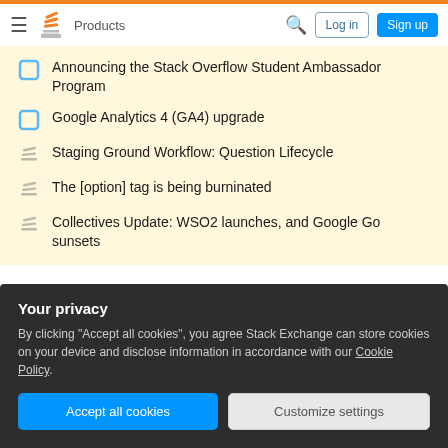Stack Overflow — Products | Log in | Sign up
Announcing the Stack Overflow Student Ambassador Program
Google Analytics 4 (GA4) upgrade
Staging Ground Workflow: Question Lifecycle
The [option] tag is being burninated
Collectives Update: WSO2 launches, and Google Go sunsets
[Figure (screenshot): Partial advertisement banner showing 'SCROLLING TO' text]
Your privacy
By clicking "Accept all cookies", you agree Stack Exchange can store cookies on your device and disclose information in accordance with our Cookie Policy.
Accept all cookies | Customize settings